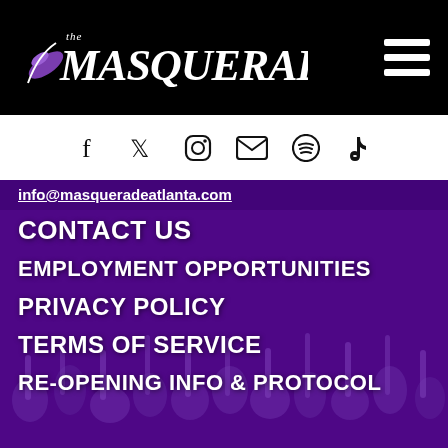The Masquerade
[Figure (logo): The Masquerade logo in white stylized lettering on black background with purple feather icon]
[Figure (infographic): Social media icons row: Facebook, Twitter, Instagram, Email, Spotify, TikTok on white background]
info@masqueradeatlanta.com
CONTACT US
EMPLOYMENT OPPORTUNITIES
PRIVACY POLICY
TERMS OF SERVICE
RE-OPENING INFO & PROTOCOL